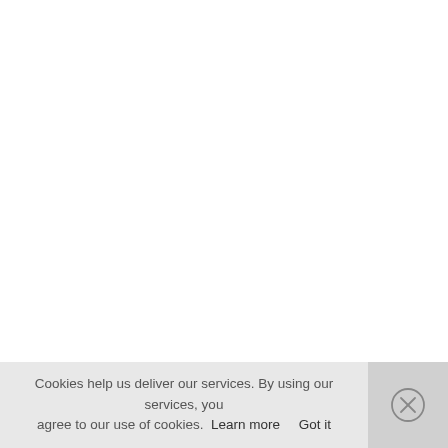Cookies help us deliver our services. By using our services, you agree to our use of cookies. Learn more   Got it